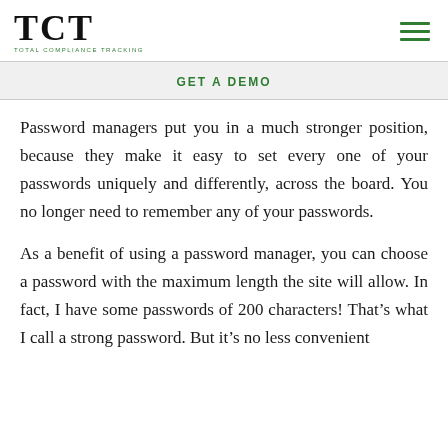TCT TOTAL COMPLIANCE TRACKING
GET A DEMO
Password managers put you in a much stronger position, because they make it easy to set every one of your passwords uniquely and differently, across the board. You no longer need to remember any of your passwords.
As a benefit of using a password manager, you can choose a password with the maximum length the site will allow. In fact, I have some passwords of 200 characters! That’s what I call a strong password. But it’s no less convenient